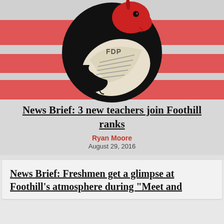[Figure (logo): FDP dragon logo — a black circle containing a dragon head (red) holding a newspaper/book, with red horizontal stripes in the background]
News Brief: 3 new teachers join Foothill ranks
Ryan Moore
August 29, 2016
News Brief: Freshmen get a glimpse at Foothill's atmosphere during "Meet and